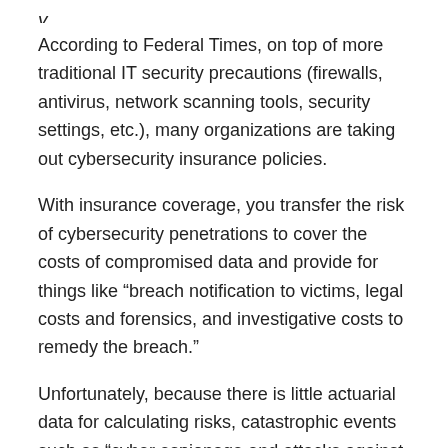According to Federal Times, on top of more traditional IT security precautions (firewalls, antivirus, network scanning tools, security settings, etc.), many organizations are taking out cybersecurity insurance policies.
With insurance coverage, you transfer the risk of cybersecurity penetrations to cover the costs of compromised data and provide for things like “breach notification to victims, legal costs and forensics, and investigative costs to remedy the breach.”
Unfortunately, because there is little actuarial data for calculating risks, catastrophic events such as “cyber espionage and attacks against SCADA industrial controls systems are usually not covered.
DHS has a section on their website that promotes